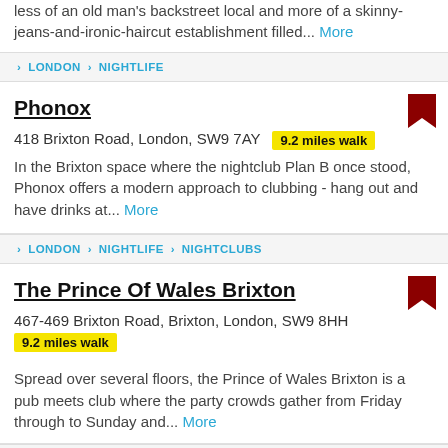less of an old man's backstreet local and more of a skinny-jeans-and-ironic-haircut establishment filled... More
› LONDON › NIGHTLIFE
Phonox
418 Brixton Road, London, SW9 7AY  9.2 miles walk
In the Brixton space where the nightclub Plan B once stood, Phonox offers a modern approach to clubbing - hang out and have drinks at... More
› LONDON › NIGHTLIFE › NIGHTCLUBS
The Prince Of Wales Brixton
467-469 Brixton Road, Brixton, London, SW9 8HH
9.2 miles walk
Spread over several floors, the Prince of Wales Brixton is a pub meets club where the party crowds gather from Friday through to Sunday and... More
› LONDON › NIGHTLIFE › PUBS